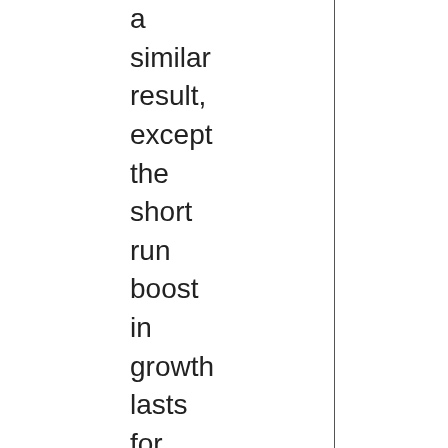a similar result, except the short run boost in growth lasts for longer (approx 30 years). Ultimately it looks like the S...